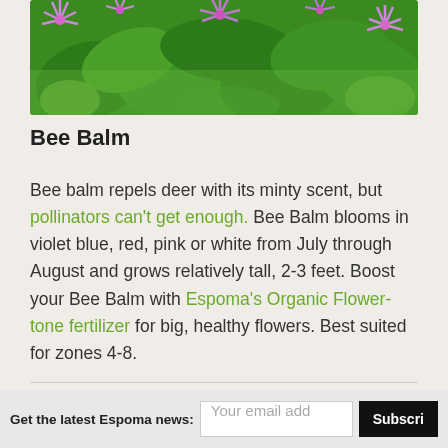[Figure (photo): Close-up photo of bee balm flowers with purple/pink blooms and bright green leaves]
Bee Balm
Bee balm repels deer with its minty scent, but pollinators can't get enough. Bee Balm blooms in violet blue, red, pink or white from July through August and grows relatively tall, 2-3 feet. Boost your Bee Balm with Espoma's Organic Flower-tone fertilizer for big, healthy flowers. Best suited for zones 4-8.
Get the latest Espoma news: [email input] Subscribe